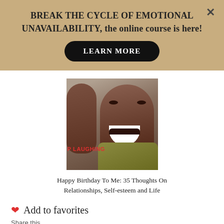BREAK THE CYCLE OF EMOTIONAL UNAVAILABILITY, the online course is here!
LEARN MORE
[Figure (photo): Video thumbnail showing a laughing person with text 'LAUGHING' overlaid in red]
Happy Birthday To Me: 35 Thoughts On Relationships, Self-esteem and Life
🤍 Add to favorites
Share this...
[Figure (infographic): Social sharing icons: Facebook, Pinterest, Twitter, LinkedIn, Reddit, StumbleUpon, Tumblr]